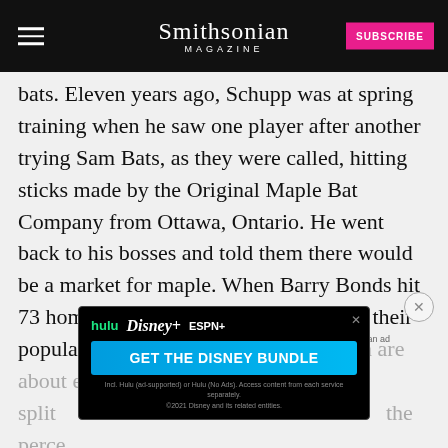Smithsonian MAGAZINE
bats. Eleven years ago, Schupp was at spring training when he saw one player after another trying Sam Bats, as they were called, hitting sticks made by the Original Maple Bat Company from Ottawa, Ontario. He went back to his bosses and told them there would be a market for maple. When Barry Bonds hit 73 home runs in 2001 with a maple bat, their popularity soared. Today, maple and ash are about equally split [faded text] the perce[faded text] off
[Figure (screenshot): Advertisement for Disney Bundle featuring Hulu, Disney+, and ESPN+ logos with GET THE DISNEY BUNDLE CTA button]